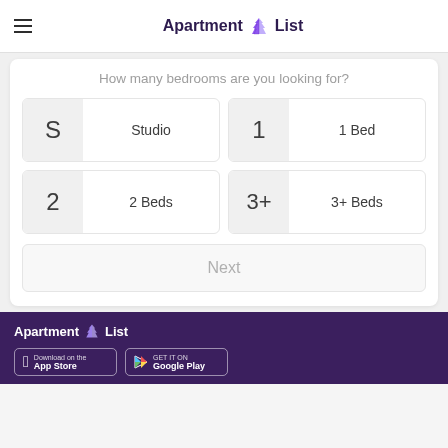Apartment List
How many bedrooms are you looking for?
S - Studio
1 - 1 Bed
2 - 2 Beds
3+ - 3+ Beds
Next
Apartment List - Download on the App Store / GET IT ON Google Play